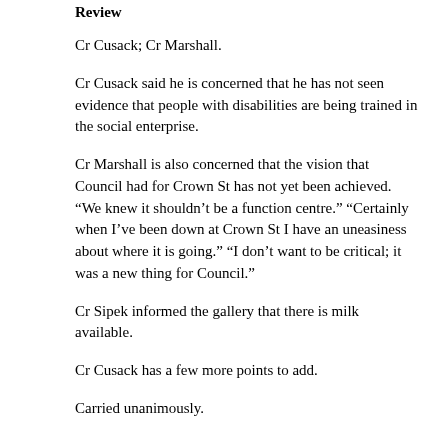Review
Cr Cusack; Cr Marshall.
Cr Cusack said he is concerned that he has not seen evidence that people with disabilities are being trained in the social enterprise.
Cr Marshall is also concerned that the vision that Council had for Crown St has not yet been achieved. “We knew it shouldn’t be a function centre.” “Certainly when I’ve been down at Crown St I have an uneasiness about where it is going.” “I don’t want to be critical; it was a new thing for Council.”
Cr Sipek informed the gallery that there is milk available.
Cr Cusack has a few more points to add.
Carried unanimously.